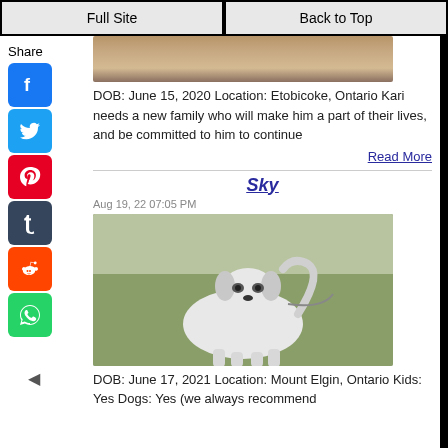Full Site | Back to Top
Share
[Figure (photo): Partial photo of a dog (top cropped), showing brown wooden deck background]
DOB: June 15, 2020 Location: Etobicoke, Ontario Kari needs a new family who will make him a part of their lives, and be committed to him to continue
Read More
Sky
Aug 19, 22 07:05 PM
[Figure (photo): Photo of a white fluffy dog on a leash standing on grass with autumn leaves, tail curled up]
DOB: June 17, 2021 Location: Mount Elgin, Ontario Kids: Yes Dogs: Yes (we always recommend